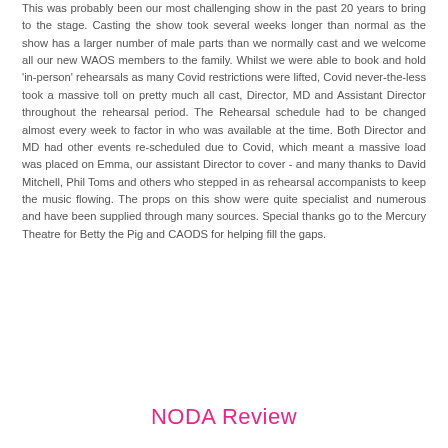This was probably been our most challenging show in the past 20 years to bring to the stage. Casting the show took several weeks longer than normal as the show has a larger number of male parts than we normally cast and we welcome all our new WAOS members to the family. Whilst we were able to book and hold 'in-person' rehearsals as many Covid restrictions were lifted, Covid never-the-less took a massive toll on pretty much all cast, Director, MD and Assistant Director throughout the rehearsal period. The Rehearsal schedule had to be changed almost every week to factor in who was available at the time. Both Director and MD had other events re-scheduled due to Covid, which meant a massive load was placed on Emma, our assistant Director to cover - and many thanks to David Mitchell, Phil Toms and others who stepped in as rehearsal accompanists to keep the music flowing. The props on this show were quite specialist and numerous and have been supplied through many sources. Special thanks go to the Mercury Theatre for Betty the Pig and CAODS for helping fill the gaps.
NODA Review